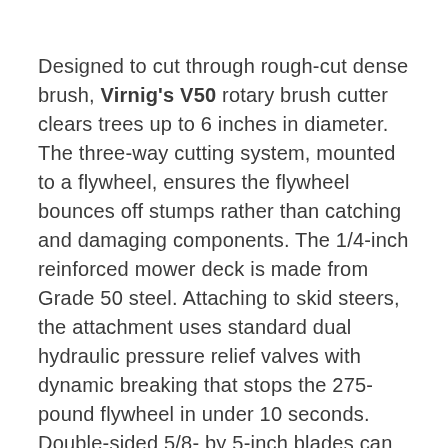Designed to cut through rough-cut dense brush, Virnig's V50 rotary brush cutter clears trees up to 6 inches in diameter. The three-way cutting system, mounted to a flywheel, ensures the flywheel bounces off stumps rather than catching and damaging components. The 1/4-inch reinforced mower deck is made from Grade 50 steel. Attaching to skid steers, the attachment uses standard dual hydraulic pressure relief valves with dynamic breaking that stops the 275-pound flywheel in under 10 seconds. Double-sided 5/8- by 5-inch blades can be flipped over to use a second set of sharpened edges. The cutter is available in 60- to 78-inch cut widths, with a recommended flow rate of 14 to 42 gpm.